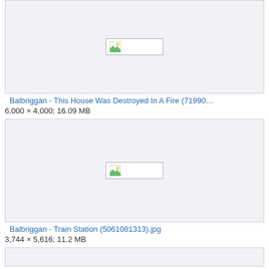[Figure (screenshot): Image placeholder/broken image thumbnail for Balbriggan fire house photo]
Balbriggan - This House Was Destroyed In A Fire (71990…
6,000 × 4,000; 16.09 MB
[Figure (screenshot): Image placeholder/broken image thumbnail for Balbriggan Train Station photo]
Balbriggan - Train Station (5061081313).jpg
3,744 × 5,616; 11.2 MB
[Figure (screenshot): Partial image card at bottom of page]